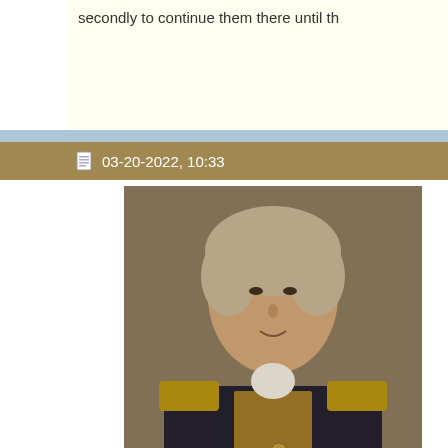secondly to continue them there until th
03-20-2022, 10:33
[Figure (photo): Portrait painting of a man in military uniform, appearing to be from the 18th or early 19th century]
Bligh
Admiral of the Fleet.
[Figure (illustration): Crown/rank icon graphic]
[Figure (illustration): UK flag badge with .UK text]
[Figure (illustration): Green reputation dots bar]
| Join Date: | Nov 2011 |
| Location: | Notts |
| Log Entries: | 21,335 |
| Blog Entries: | 22 |
| Name: | Rob |
Today we welcome FM Azmi, aka fe
Rob.